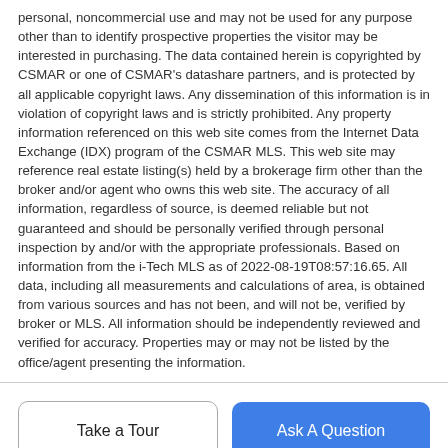personal, noncommercial use and may not be used for any purpose other than to identify prospective properties the visitor may be interested in purchasing. The data contained herein is copyrighted by CSMAR or one of CSMAR's datashare partners, and is protected by all applicable copyright laws. Any dissemination of this information is in violation of copyright laws and is strictly prohibited. Any property information referenced on this web site comes from the Internet Data Exchange (IDX) program of the CSMAR MLS. This web site may reference real estate listing(s) held by a brokerage firm other than the broker and/or agent who owns this web site. The accuracy of all information, regardless of source, is deemed reliable but not guaranteed and should be personally verified through personal inspection by and/or with the appropriate professionals. Based on information from the i-Tech MLS as of 2022-08-19T08:57:16.65. All data, including all measurements and calculations of area, is obtained from various sources and has not been, and will not be, verified by broker or MLS. All information should be independently reviewed and verified for accuracy. Properties may or may not be listed by the office/agent presenting the information.